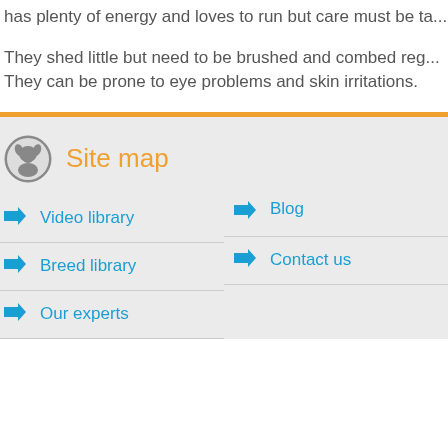has plenty of energy and loves to run but care must be ta...
They shed little but need to be brushed and combed reg...
They can be prone to eye problems and skin irritations.
Site map
Video library
Breed library
Our experts
Blog
Contact us